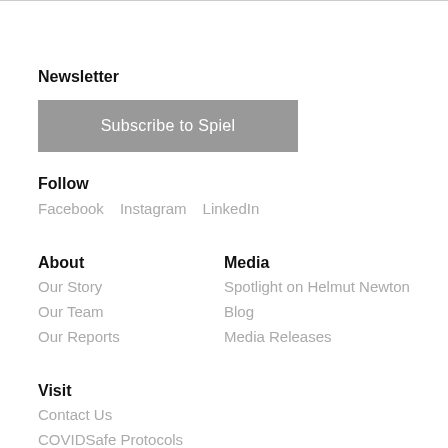Newsletter
[Figure (other): Subscribe to Spiel button — a grey rectangle with white text]
Follow
Facebook
Instagram
LinkedIn
About
Our Story
Our Team
Our Reports
Media
Spotlight on Helmut Newton
Blog
Media Releases
Visit
Contact Us
COVIDSafe Protocols